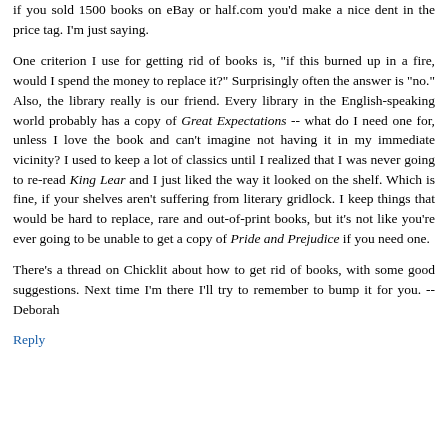if you sold 1500 books on eBay or half.com you'd make a nice dent in the price tag. I'm just saying.
One criterion I use for getting rid of books is, "if this burned up in a fire, would I spend the money to replace it?" Surprisingly often the answer is "no." Also, the library really is our friend. Every library in the English-speaking world probably has a copy of Great Expectations -- what do I need one for, unless I love the book and can't imagine not having it in my immediate vicinity? I used to keep a lot of classics until I realized that I was never going to re-read King Lear and I just liked the way it looked on the shelf. Which is fine, if your shelves aren't suffering from literary gridlock. I keep things that would be hard to replace, rare and out-of-print books, but it's not like you're ever going to be unable to get a copy of Pride and Prejudice if you need one.
There's a thread on Chicklit about how to get rid of books, with some good suggestions. Next time I'm there I'll try to remember to bump it for you. -- Deborah
Reply